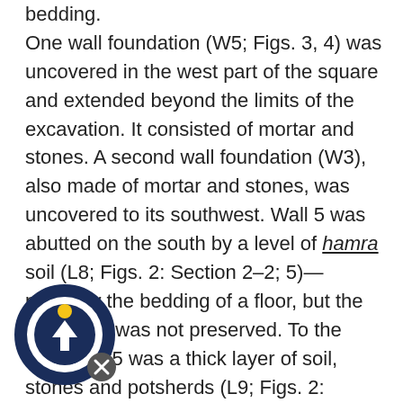bedding. One wall foundation (W5; Figs. 3, 4) was uncovered in the west part of the square and extended beyond the limits of the excavation. It consisted of mortar and stones. A second wall foundation (W3), also made of mortar and stones, was uncovered to its southwest. Wall 5 was abutted on the south by a level of hamra soil (L8; Figs. 2: Section 2–2; 5)—probably the bedding of a floor, but the floor itself was not preserved. To the west of W5 was a thick layer of soil, stones and potsherds (L9; Figs. 2: Section 1–1; 6, 7), probably the bedding of another floor. The [pottery] dates from the Early Islamic period and [includes a] bowl (Fig. 8:1), a jug (Fig. 8:2), jars (Fig.
[Figure (logo): Circular logo with arrow/person icon in dark blue and yellow, with an X close button]